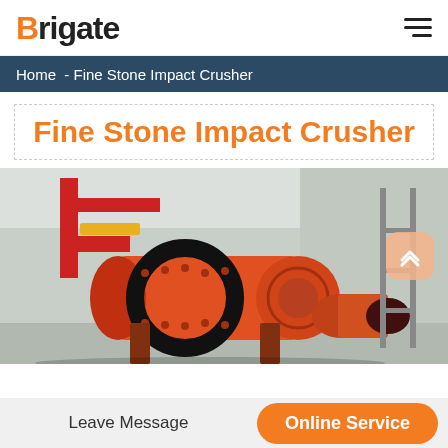Brigate
Home - Fine Stone Impact Crusher
Fine Stone Impact Crusher
[Figure (photo): Large orange industrial ball mill / impact crusher machine with black gear ring, red support structure, in an industrial facility.]
Leave Message
Online Service